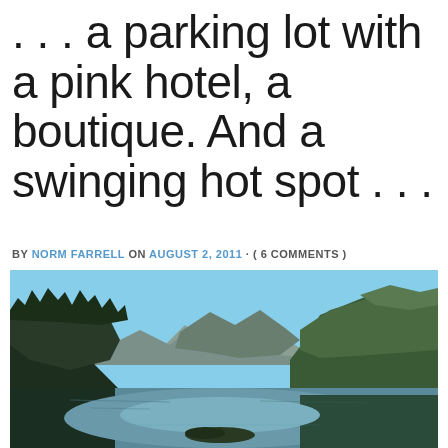. . . a parking lot with a pink hotel, a boutique. And a swinging hot spot . . .
BY NORM FARRELL ON AUGUST 2, 2011 · ( 6 COMMENTS )
[Figure (photo): Scenic photograph of a calm mountain lake with forested mountains reflected in still water under a clear blue sky]